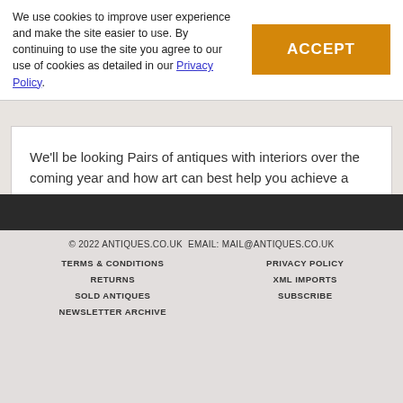We use cookies to improve user experience and make the site easier to use. By continuing to use the site you agree to our use of cookies as detailed in our Privacy Policy.
ACCEPT
We’ll be looking Pairs of antiques with interiors over the coming year and how art can best help you achieve a theme or era you wish to emulate. We’ll also be celebrating various events throughout the coming year and finding ways in which we can tie them in with our love of antiques.
« back to Magazine
© 2022 ANTIQUES.CO.UK EMAIL: MAIL@ANTIQUES.CO.UK
TERMS & CONDITIONS | PRIVACY POLICY | RETURNS | XML IMPORTS | SOLD ANTIQUES | SUBSCRIBE | NEWSLETTER ARCHIVE